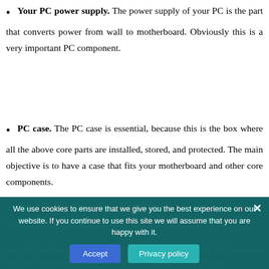Your PC power supply. The power supply of your PC is the part that converts power from wall to motherboard. Obviously this is a very important PC component.
PC case. The PC case is essential, because this is the box where all the above core parts are installed, stored, and protected. The main objective is to have a case that fits your motherboard and other core components.
2. Your PC's Fan Needs To Be Considered
When you assemble all the parts of your PC in the case,
you will need to think about the fan to cool the processor. The fan keeps your PC from overheating. An AMD works pretty well to keep
We use cookies to ensure that we give you the best experience on our website. If you continue to use this site we will assume that you are happy with it.